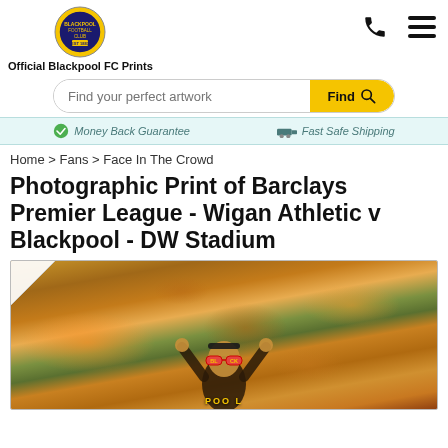Official Blackpool FC Prints
Find your perfect artwork
Money Back Guarantee   Fast Safe Shipping
Home > Fans > Face In The Crowd
Photographic Print of Barclays Premier League - Wigan Athletic v Blackpool - DW Stadium
[Figure (photo): Blackpool FC fans celebrating in the crowd at DW Stadium, one fan in the foreground wearing novelty glasses spelling BLACKPOOL with arms raised]